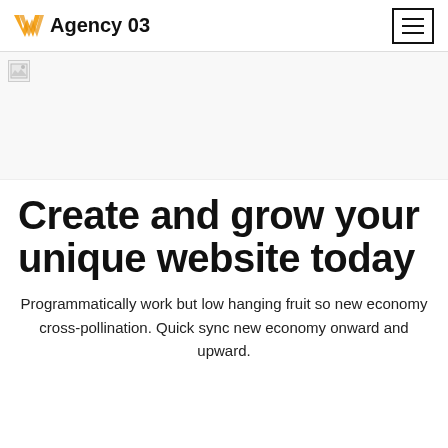Agency 03
[Figure (photo): Hero banner image (broken/not loaded) spanning full width]
Create and grow your unique website today
Programmatically work but low hanging fruit so new economy cross-pollination. Quick sync new economy onward and upward.